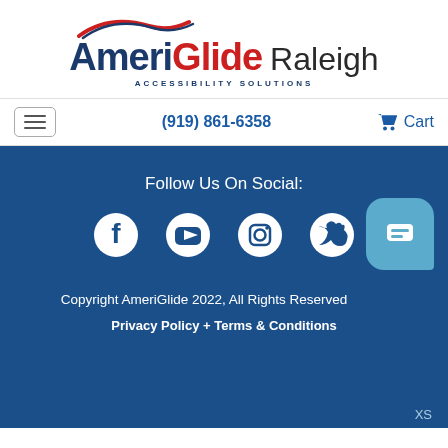[Figure (logo): AmeriGlide Raleigh Accessibility Solutions logo with swoosh graphic]
(919) 861-6358
Cart
Follow Us On Social:
[Figure (illustration): Social media icons: Facebook, YouTube, Instagram, Twitter]
Copyright AmeriGlide 2022, All Rights Reserved
Privacy Policy + Terms & Conditions
[Figure (illustration): Chat bubble icon with speech/message symbol]
XS